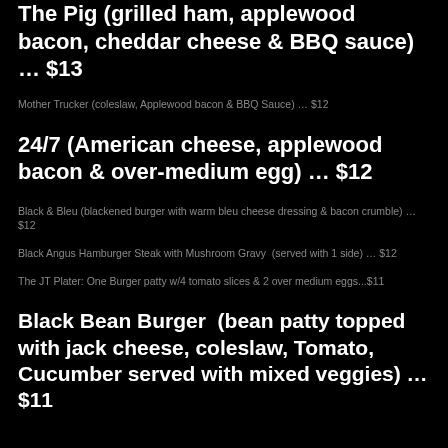The Pig (grilled ham, applewood bacon, cheddar cheese & BBQ sauce) … $13
Mother Trucker (coleslaw, Applewood bacon & BBQ Sauce) … $12
24/7 (American cheese, applewood bacon & over-medium egg) … $12
Black & Bleu (blackened burger with warm bleu cheese dressing & bacon crumble) … $12
Black Angus Hamburger Steak with Mushroom Gravy  (served with 1 side) … $12
The JT Plater: One Burger patty w/4 tomato slices & 2 over medium eggs...$11
Black Bean Burger  (bean patty topped with jack cheese, coleslaw, Tomato, Cucumber served with mixed veggies) … $11